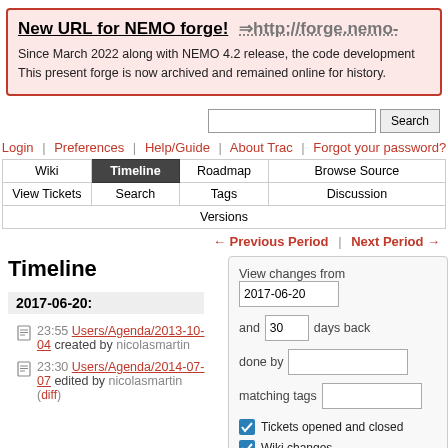New URL for NEMO forge! ⇒http://forge.nemo- ... Since March 2022 along with NEMO 4.2 release, the code development ... This present forge is now archived and remained online for history.
Search
Login | Preferences | Help/Guide | About Trac | Forgot your password?
| Wiki | Timeline | Roadmap | Browse Source |
| --- | --- | --- | --- |
| View Tickets | Search | Tags | Discussion | Versions |
← Previous Period | Next Period →
Timeline
2017-06-20:
23:55 Users/Agenda/2013-10-04 created by nicolasmartin
23:30 Users/Agenda/2014-07-07 edited by nicolasmartin (diff)
View changes from 2017-06-20 and 30 days back done by matching tags Tickets opened and closed Wiki changes Tag changes